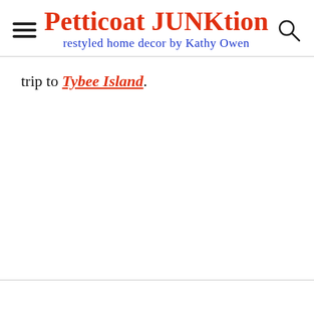Petticoat JUNKtion — restyled home decor by Kathy Owen
trip to Tybee Island.